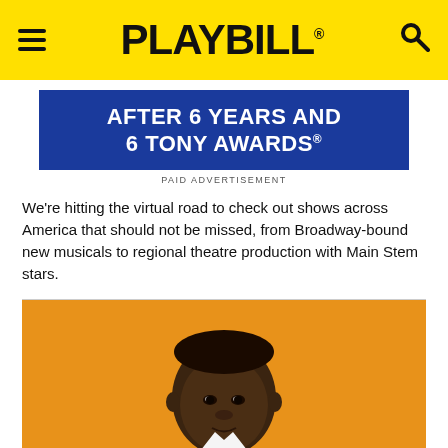PLAYBILL
[Figure (other): Blue advertisement banner reading AFTER 6 YEARS AND 6 TONY AWARDS with paid advertisement label below]
PAID ADVERTISEMENT
We're hitting the virtual road to check out shows across America that should not be missed, from Broadway-bound new musicals to regional theatre production with Main Stem stars.
[Figure (photo): Portrait of a Black man in a white shirt against an orange background, looking directly at the camera]